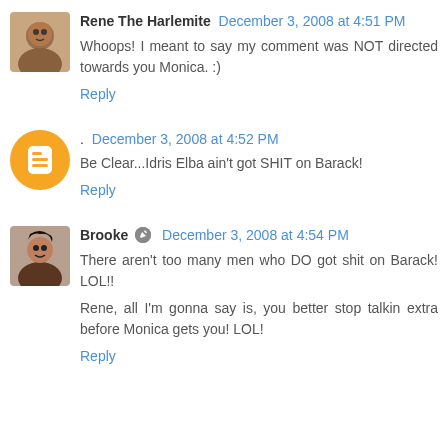[Figure (photo): Avatar photo of Rene The Harlemite]
Rene The Harlemite December 3, 2008 at 4:51 PM
Whoops! I meant to say my comment was NOT directed towards you Monica. :)
Reply
[Figure (logo): Blogger orange circle icon avatar]
. December 3, 2008 at 4:52 PM
Be Clear...Idris Elba ain't got SHIT on Barack!
Reply
[Figure (photo): Avatar photo of Brooke]
Brooke December 3, 2008 at 4:54 PM
There aren't too many men who DO got shit on Barack! LOL!!

Rene, all I'm gonna say is, you better stop talkin extra before Monica gets you! LOL!
Reply